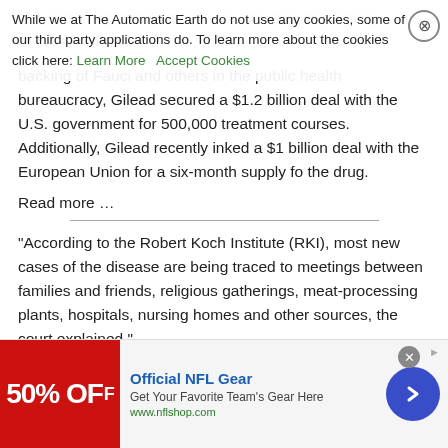While we at The Automatic Earth do not use any cookies, some of our third party applications do. To learn more about the cookies click here: Learn More  Accept Cookies
backing of Fauci and others in the public health bureaucracy, Gilead secured a $1.2 billion deal with the U.S. government for 500,000 treatment courses. Additionally, Gilead recently inked a $1 billion deal with the European Union for a six-month supply fo the drug.
Read more …
“According to the Robert Koch Institute (RKI), most new cases of the disease are being traced to meetings between families and friends, religious gatherings, meat-processing plants, hospitals, nursing homes and other sources, the court explained.”
Berlin Court Overturns Restaurant Curfew (RT)
[Figure (infographic): Advertisement banner for Official NFL Gear showing 50% OFF in red, with NFL Shop logo, text 'Get Your Favorite Team’s Gear Here', www.nflshop.com, and a blue circular arrow button. Close button and AdChoices icon visible.]